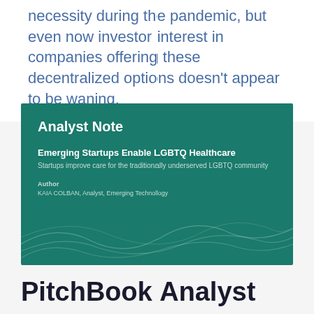necessity during the pandemic, but even now investor interest in companies offering these decentralized options doesn't appear to be waning.
[Figure (illustration): Analyst Note report cover card with teal/dark green background. Title: 'Analyst Note', Report title: 'Emerging Startups Enable LGBTQ Healthcare', Subtitle: 'Startups improve care for the traditionally underserved LGBTQ community', Author: KAIA COLBAN, Analyst, Emerging Technology. Decorative wave lines on the lower portion.]
PitchBook Analyst